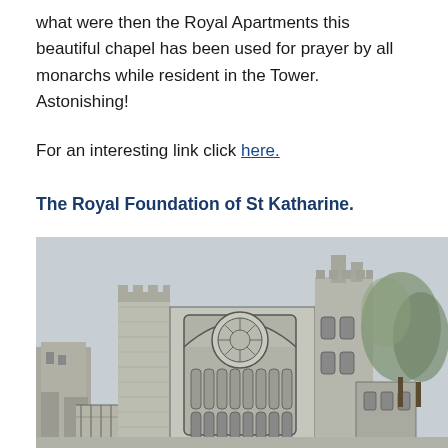what were then the Royal Apartments this beautiful chapel has been used for prayer by all monarchs while resident in the Tower.  Astonishing!
For an interesting link click here.
The Royal Foundation of St Katharine.
[Figure (illustration): A pencil and watercolour sketch of a Gothic church building with a large rose window and pointed arched windows, flanked by stone towers, with trees visible on the right side.]